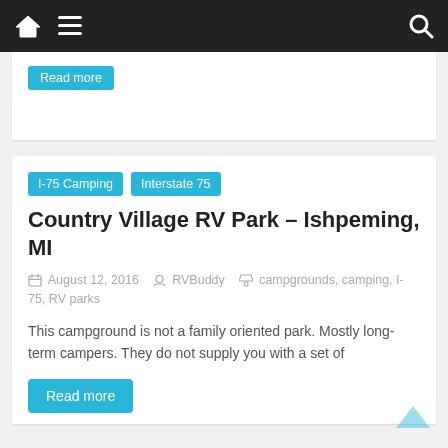Navigation bar with home icon, menu icon, and search icon
Read more
I-75 Camping   Interstate 75
Country Village RV Park – Ishpeming, MI
August 12, 2016   RVBuddy   campgrounds, camping, I-75, RV parks
This campground is not a family oriented park. Mostly long-term campers. They do not supply you with a set of
Read more